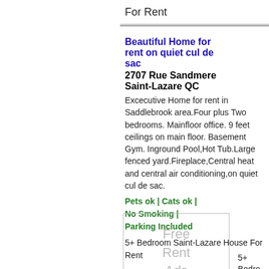For Rent
Beautiful Home for rent on quiet cul de sac
2707 Rue Sandmere Saint-Lazare QC
Excecutive Home for rent in Saddlebrook area.Four plus Two bedrooms. Mainfloor office. 9 feet ceilings on main floor. Basement Gym. Inground Pool,Hot Tub.Large fenced yard.Fireplace,Central heat and central air conditioning,on quiet cul de sac.
Pets ok | Cats ok | No Smoking | Parking Included
5+ Bedroom Saint-Lazare House For Rent
[Figure (other): Free Rent Ads placeholder box with light gray text]
House for rent in Beautiful Saddlebrook close to the Nature